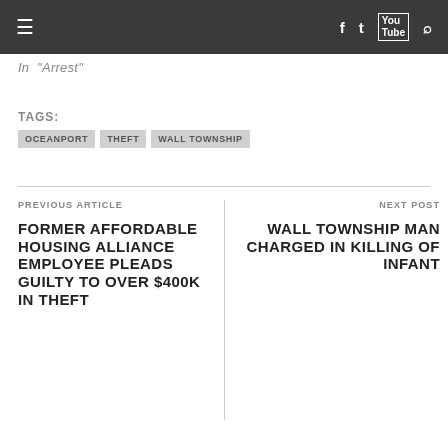≡  f  🐦  You Tube  🔍
In  Arrest
TAGS:
OCEANPORT  THEFT  WALL TOWNSHIP
PREVIOUS ARTICLE
FORMER AFFORDABLE HOUSING ALLIANCE EMPLOYEE PLEADS GUILTY TO OVER $400K IN THEFT
NEXT POST
WALL TOWNSHIP MAN CHARGED IN KILLING OF INFANT